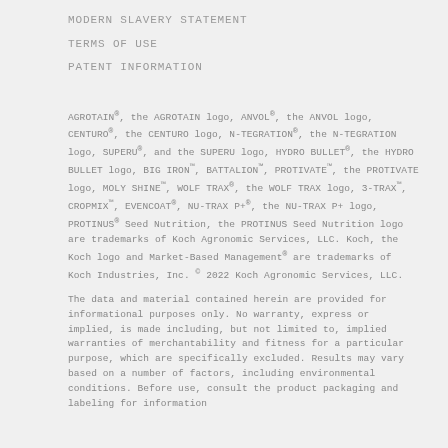MODERN SLAVERY STATEMENT
TERMS OF USE
PATENT INFORMATION
AGROTAIN®, the AGROTAIN logo, ANVOL®, the ANVOL logo, CENTURO®, the CENTURO logo, N-TEGRATION®, the N-TEGRATION logo, SUPERU®, and the SUPERU logo, HYDRO BULLET®, the HYDRO BULLET logo, BIG IRON™, BATTALION™, PROTIVATE™, the PROTIVATE logo, MOLY SHINE™, WOLF TRAX®, the WOLF TRAX logo, 3-TRAX™, CROPMIX™, EVENCOAT®, NU-TRAX P+®, the NU-TRAX P+ logo, PROTINUS® Seed Nutrition, the PROTINUS Seed Nutrition logo are trademarks of Koch Agronomic Services, LLC. Koch, the Koch logo and Market-Based Management® are trademarks of Koch Industries, Inc. © 2022 Koch Agronomic Services, LLC.
The data and material contained herein are provided for informational purposes only. No warranty, express or implied, is made including, but not limited to, implied warranties of merchantability and fitness for a particular purpose, which are specifically excluded. Results may vary based on a number of factors, including environmental conditions. Before use, consult the product packaging and labeling for information